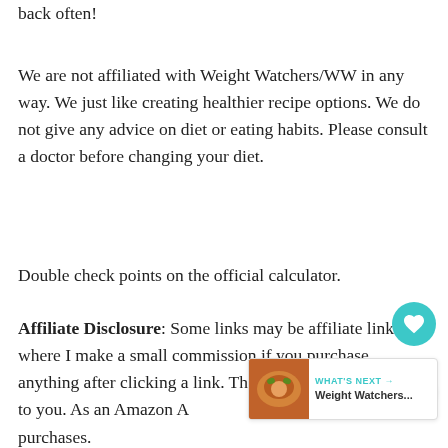back often!
We are not affiliated with Weight Watchers/WW in any way. We just like creating healthier recipe options. We do not give any advice on diet or eating habits. Please consult a doctor before changing your diet.
Double check points on the official calculator.
Affiliate Disclosure: Some links may be affiliate links where I make a small commission if you purchase anything after clicking a link. There is no additional cost to you. As an Amazon As... earn from qualifying purchases.